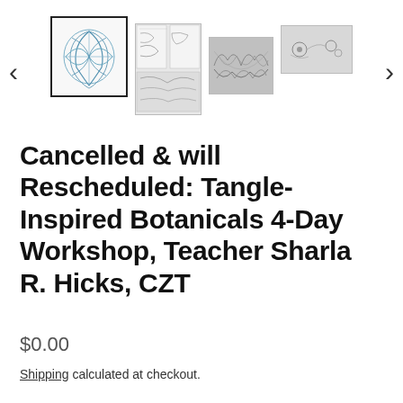[Figure (illustration): Product image gallery with left/right navigation arrows and 4 thumbnail images of tangle-inspired botanical artwork. First thumbnail (active, with border) shows a blue floral tangle. Second shows a two-page spread with botanical tangle patterns. Third shows a dense floral/botanical tangle. Fourth shows a sparse botanical tangle.]
Cancelled & will Rescheduled: Tangle-Inspired Botanicals 4-Day Workshop, Teacher Sharla R. Hicks, CZT
$0.00
Shipping calculated at checkout.